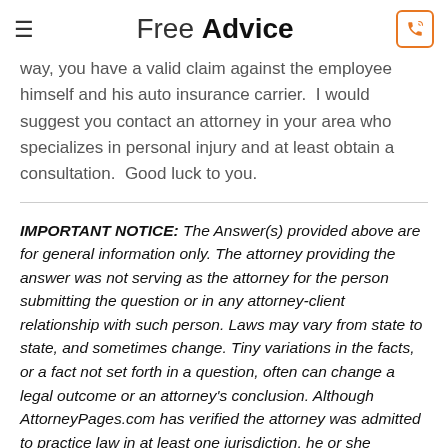Free Advice
way, you have a valid claim against the employee himself and his auto insurance carrier.  I would suggest you contact an attorney in your area who specializes in personal injury and at least obtain a consultation.  Good luck to you.
IMPORTANT NOTICE: The Answer(s) provided above are for general information only. The attorney providing the answer was not serving as the attorney for the person submitting the question or in any attorney-client relationship with such person. Laws may vary from state to state, and sometimes change. Tiny variations in the facts, or a fact not set forth in a question, often can change a legal outcome or an attorney's conclusion. Although AttorneyPages.com has verified the attorney was admitted to practice law in at least one jurisdiction, he or she